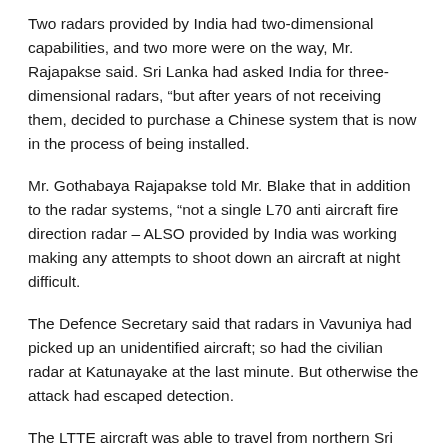Two radars provided by India had two-dimensional capabilities, and two more were on the way, Mr. Rajapakse said. Sri Lanka had asked India for three-dimensional radars, “but after years of not receiving them, decided to purchase a Chinese system that is now in the process of being installed.
Mr. Gothabaya Rajapakse told Mr. Blake that in addition to the radar systems, “not a single L70 anti aircraft fire direction radar – ALSO provided by India was working making any attempts to shoot down an aircraft at night difficult.
The Defence Secretary said that radars in Vavuniya had picked up an unidentified aircraft; so had the civilian radar at Katunayake at the last minute. But otherwise the attack had escaped detection.
The LTTE aircraft was able to travel from northern Sri Lanka, along the western interior of the country, strike the airfield and